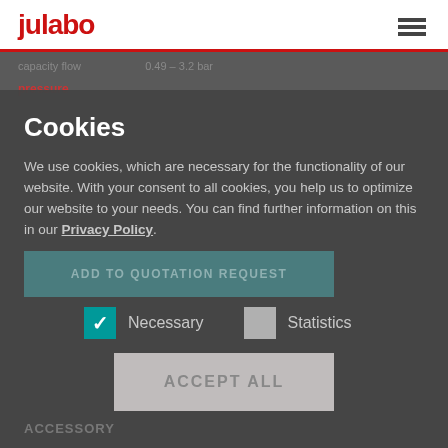[Figure (screenshot): JULABO website navigation bar with red logo and hamburger menu icon]
Cookies
We use cookies, which are necessary for the functionality of our website. With your consent to all cookies, you help us to optimize our website to your needs. You can find further information on this in our Privacy Policy.
ADD TO QUOTATION REQUEST
Necessary
Statistics
ACCEPT ALL
Save preferences